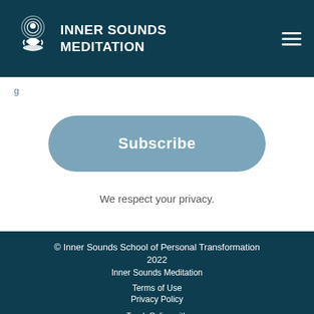INNER SOUNDS MEDITATION
Subscribe
We respect your privacy.
© Inner Sounds School of Personal Transformation 2022
Inner Sounds Meditation
Terms of Use
Privacy Policy
Teach Online with teach:able